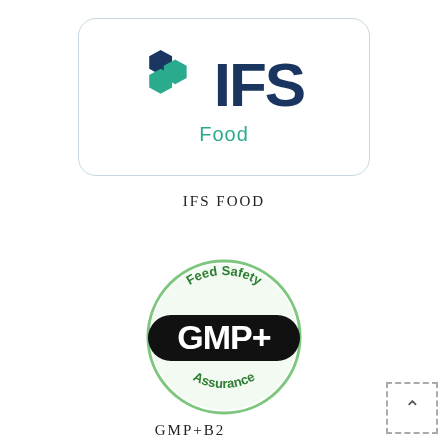[Figure (logo): IFS Food logo: three hexagons (dark blue, teal, teal) arranged diagonally left, with large bold dark blue text 'IFS' and teal text 'Food' below, inside a rounded rectangle border]
IFS FOOD
[Figure (logo): GMP+ Feed Safety Assurance circular badge logo: green circular border with 'Feed Safety' text at top and 'Assurance' at bottom, black horizontal band across middle with white bold text 'GMP+']
GMP+B2